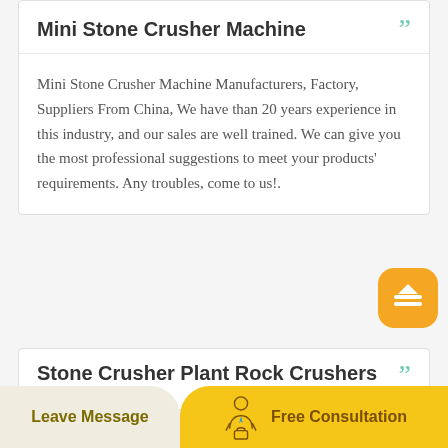Mini Stone Crusher Machine
Mini Stone Crusher Machine Manufacturers, Factory, Suppliers From China, We have than 20 years experience in this industry, and our sales are well trained. We can give you the most professional suggestions to meet your products' requirements. Any troubles, come to us!.
Stone Crusher Plant Rock Crushers Machine
Leave Message
Free Consultation